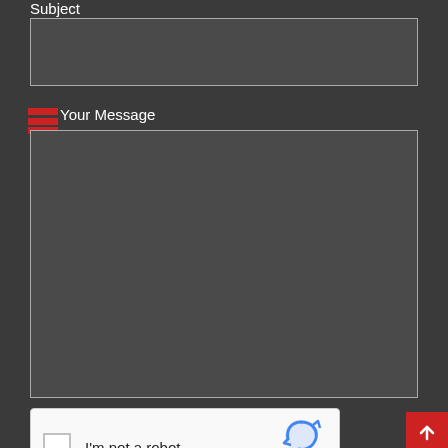Subject
[Figure (screenshot): Dark grey input field for subject text]
Your Message
[Figure (screenshot): Dark grey textarea for message input]
[Figure (other): reCAPTCHA widget showing checkbox, 'I'm not a robot' text, and reCAPTCHA logo with Privacy and Terms links]
[Figure (other): Red scroll-to-top button with upward arrow icon]